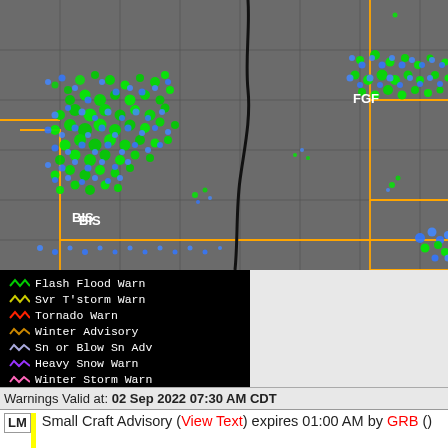[Figure (map): Weather radar map showing precipitation (green and blue dots indicating rainfall/storms) over North Dakota and surrounding region. State/county borders shown in dark gray with orange lines indicating NWS forecast office boundaries. Black curved line (frontal boundary) running north-south through the center. Location labels: FGF (Grand Forks) and BIS (Bismarck).]
Flash Flood Warn
Svr T'storm Warn
Tornado Warn
Winter Advisory
Sn or Blow Sn Adv
Heavy Snow Warn
Winter Storm Warn
Ice/Frz/Sleet Warn
Blizzard Warn
Warnings Valid at: 02 Sep 2022 07:30 AM CDT
LM  Small Craft Advisory (View Text) expires 01:00 AM by GRB ()